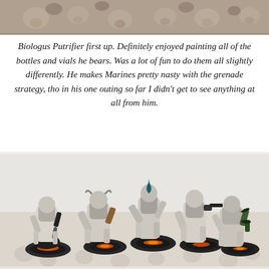[Figure (photo): Top portion of a painted Warhammer miniature figure, cropped, showing dark and muted colors with a skull-patterned background]
Biologus Putrifier first up. Definitely enjoyed painting all of the bottles and vials he bears. Was a lot of fun to do them all slightly differently. He makes Marines pretty nasty with the grenade strategy, tho in his one outing so far I didn't get to see anything at all from him.
[Figure (photo): Group of five painted Warhammer 40K Death Guard Plague Marines miniatures displayed on a skull-patterned cloth background. The miniatures are painted in white, black, and green with orange glowing bases.]